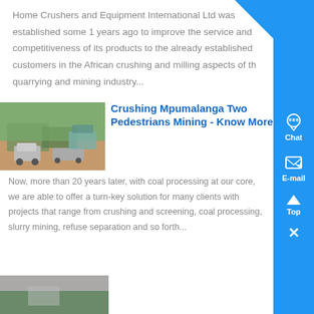Home Crushers and Equipment International Ltd was established some 1 years ago to improve the service and competitiveness of its products to the already established customers in the African crushing and milling aspects of the quarrying and mining industry...
[Figure (photo): A dirt road with vehicles including an SUV and a truck, surrounded by trees and a building in the background.]
Crushing Mpumalanga Two Pedestrians Mining - Know More
Now, more than 20 years later, with coal processing at our core, we are able to offer a turn-key solution for many clients with projects that range from crushing and screening, coal processing, slurry mining, refuse separation and so forth...
[Figure (photo): Partial view of another article image at the bottom of the page showing a landscape scene.]